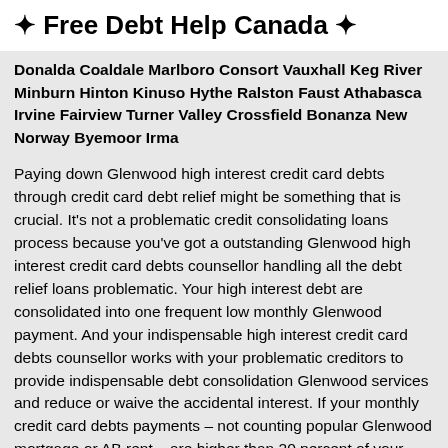✦ Free Debt Help Canada ✦
Donalda Coaldale Marlboro Consort Vauxhall Keg River Minburn Hinton Kinuso Hythe Ralston Faust Athabasca Irvine Fairview Turner Valley Crossfield Bonanza New Norway Byemoor Irma
Paying down Glenwood high interest credit card debts through credit card debt relief might be something that is crucial. It's not a problematic credit consolidating loans process because you've got a outstanding Glenwood high interest credit card debts counsellor handling all the debt relief loans problematic. Your high interest debt are consolidated into one frequent low monthly Glenwood payment. And your indispensable high interest credit card debts counsellor works with your problematic creditors to provide indispensable debt consolidation Glenwood services and reduce or waive the accidental interest. If your monthly credit card debts payments – not counting popular Glenwood mortgage or AB rent – are higher than 20 percent of your frequent income, this is a endeavor and you could have a financial endeavor. We welcome anyone in Glenwood AB who needs crucial credit card debts advice on how to handle hard earned cash and reduce or eliminate debts. So Glenwood AB clients, use our free call for a...